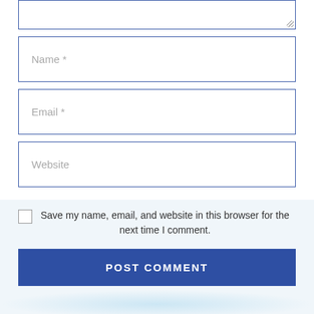[Figure (screenshot): Web form with textarea (partially visible at top), Name field, Email field, Website field, a checkbox with label 'Save my name, email, and website in this browser for the next time I comment.', and a POST COMMENT button]
54 replies to “How to Start a